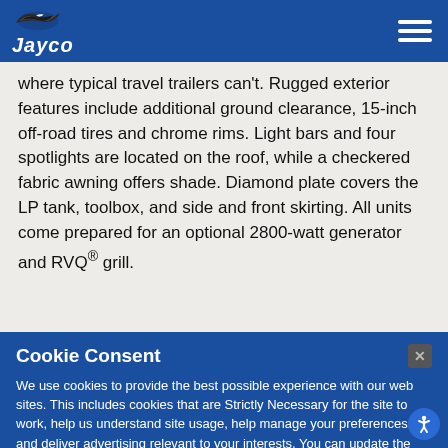Jayco
where typical travel trailers can't. Rugged exterior features include additional ground clearance, 15-inch off-road tires and chrome rims. Light bars and four spotlights are located on the roof, while a checkered fabric awning offers shade. Diamond plate covers the LP tank, toolbox, and side and front skirting. All units come prepared for an optional 2800-watt generator and RVQ® grill.
Cookie Consent
We use cookies to provide the best possible experience with our web sites. This includes cookies that are Strictly Necessary for the site to work, help us understand site usage, help manage your preferences, and deliver advertising relevant to your interests. You can update the behavior of our cookies by selecting "Cookie Settings."